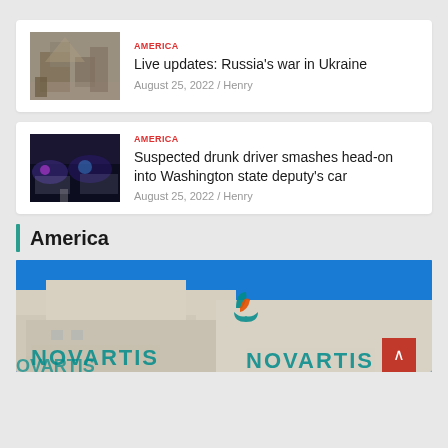[Figure (photo): Destroyed building rubble, war damage scene]
AMERICA
Live updates: Russia’s war in Ukraine
August 25, 2022 / Henry
[Figure (photo): Night scene with police cars, lights visible]
AMERICA
Suspected drunk driver smashes head-on into Washington state deputy’s car
August 25, 2022 / Henry
America
[Figure (photo): Novartis building exterior with logo and blue sky]